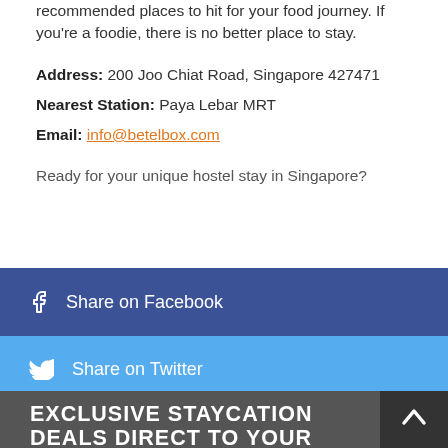recommended places to hit for your food journey. If you're a foodie, there is no better place to stay.
Address: 200 Joo Chiat Road, Singapore 427471
Nearest Station: Paya Lebar MRT
Email: info@betelbox.com
Ready for your unique hostel stay in Singapore?
Share on Facebook
Share on Twitter
EXCLUSIVE STAYCATION DEALS DIRECT TO YOUR